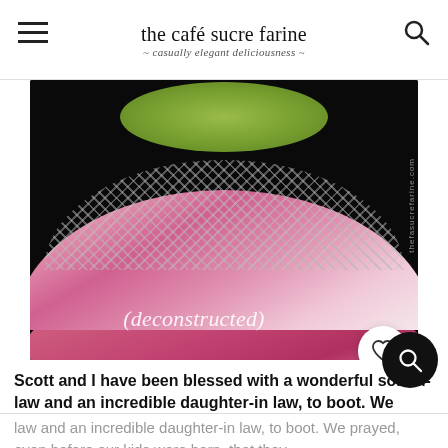the café sucre farine — casually elegant deliciousness
[Figure (photo): Close-up photo of a deconstructed layered dessert with pink floral pattern layers, silver/grey textured layer, and green top on a black background. Text '(deconstructed)' is overlaid in white italic script at the bottom.]
Scott and I have been blessed with a wonderful son-in-law and an incredible daughter-in law, to boot. We prayed, even before our kids were born, that they
(deconstructed)